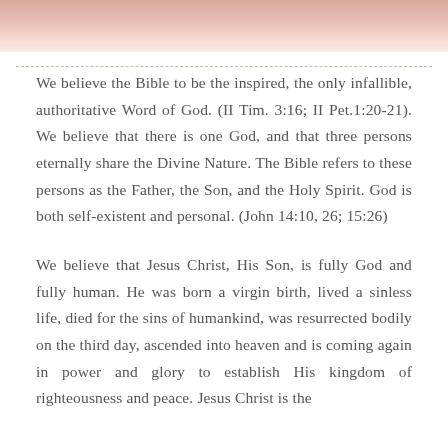[Figure (illustration): Decorative header image with warm peach/salmon tones fading to white]
We believe the Bible to be the inspired, the only infallible, authoritative Word of God. (II Tim. 3:16; II Pet.1:20-21). We believe that there is one God, and that three persons eternally share the Divine Nature. The Bible refers to these persons as the Father, the Son, and the Holy Spirit. God is both self-existent and personal. (John 14:10, 26; 15:26)
We believe that Jesus Christ, His Son, is fully God and fully human. He was born a virgin birth, lived a sinless life, died for the sins of humankind, was resurrected bodily on the third day, ascended into heaven and is coming again in power and glory to establish His kingdom of righteousness and peace. Jesus Christ is the